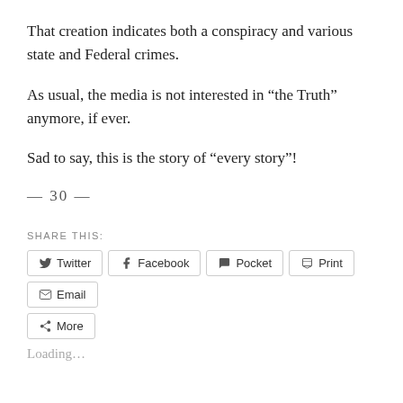That creation indicates both a conspiracy and various state and Federal crimes.
As usual, the media is not interested in “the Truth” anymore, if ever.
Sad to say, this is the story of “every story”!
— 30 —
SHARE THIS:
Twitter  Facebook  Pocket  Print  Email  More
Loading...